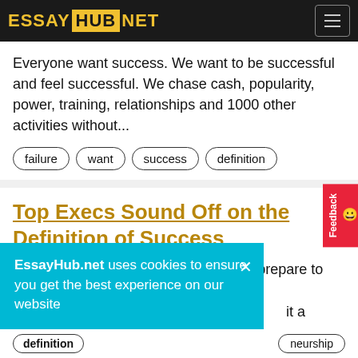ESSAY HUB NET
Everyone want success. We want to be successful and feel successful. We chase cash, popularity, power, training, relationships and 1000 other activities without...
failure
want
success
definition
Top Execs Sound Off on the Definition of Success
As 2014 concerns an in depth and we prepare to show the web page in the calendar, it is unavoidable that ... it a
EssayHub.net uses cookies to ensure you get the best experience on our website
neurship
definition